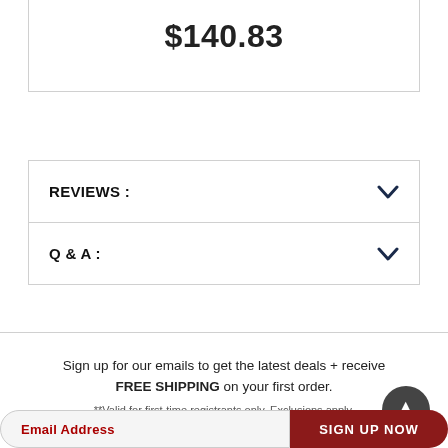$140.83
REVIEWS :
Q & A :
Sign up for our emails to get the latest deals + receive FREE SHIPPING on your first order.
**Valid for first-time registrants only. Exclusions apply.
Email Address
SIGN UP NOW